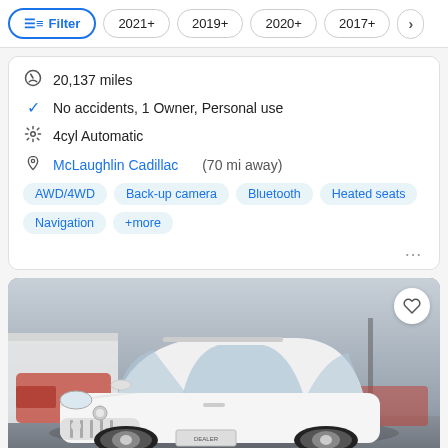Filter | 2021+ | 2019+ | 2020+ | 2017+ | >
20,137 miles
No accidents, 1 Owner, Personal use
4cyl Automatic
McLaughlin Cadillac (70 mi away)
AWD/4WD | Back-up camera | Bluetooth | Heated seats | Navigation | +more
[Figure (photo): White Buick Envision SUV photographed in a parking lot, front 3/4 view, with a red pickup truck and white building visible in background.]